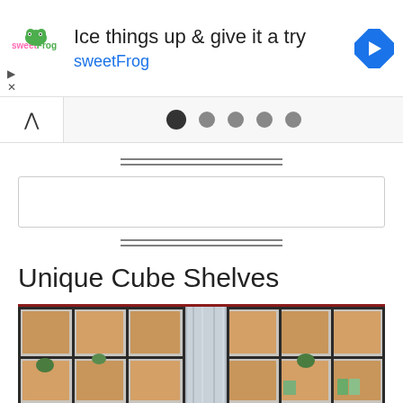[Figure (screenshot): sweetFrog advertisement banner: logo on left, text 'Ice things up & give it a try sweetFrog', navigation arrow icon on right]
[Figure (screenshot): Navigation bar with up caret button on left and five pagination dots (first dot active/dark)]
[Figure (other): Double horizontal divider lines]
[Figure (other): Empty search box input field]
[Figure (other): Double horizontal divider lines]
Unique Cube Shelves
[Figure (photo): Photo of a large wall-mounted cube shelving unit with black metal frames and wooden inserts, with plants and decorative items on shelves, and a metallic duct/column in the center]